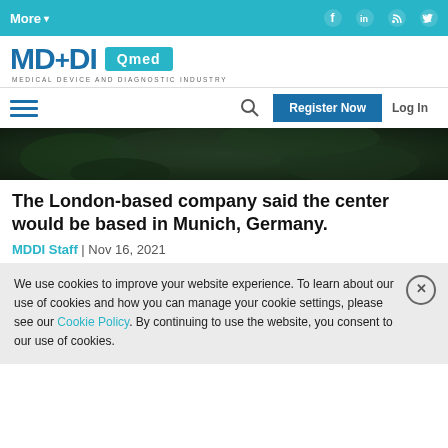More▾ | Facebook | LinkedIn | RSS | Twitter
[Figure (logo): MD+DI Qmed logo — Medical Device and Diagnostic Industry]
[Figure (screenshot): Navigation bar with hamburger menu, search icon, Register Now button, and Log In link]
[Figure (photo): Dark green foliage hero image banner]
The London-based company said the center would be based in Munich, Germany.
MDDI Staff | Nov 16, 2021
We use cookies to improve your website experience. To learn about our use of cookies and how you can manage your cookie settings, please see our Cookie Policy. By continuing to use the website, you consent to our use of cookies.